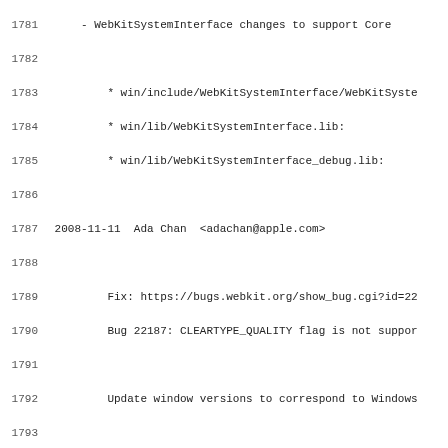Source code changelog / commit log lines 1781-1812
1781     - WebKitSystemInterface changes to support Core
1782
1783         * win/include/WebKitSystemInterface/WebKitSyste
1784         * win/lib/WebKitSystemInterface.lib:
1785         * win/lib/WebKitSystemInterface_debug.lib:
1786
1787 2008-11-11  Ada Chan  <adachan@apple.com>
1788
1789         Fix: https://bugs.webkit.org/show_bug.cgi?id=22
1790         Bug 22187: CLEARTYPE_QUALITY flag is not suppor
1791
1792         Update window versions to correspond to Windows
1793
1794         Reviewed by Steve Falkenburg.
1795
1796         * win/tools/vsprops/common.vsprops:
1797
1798 2008-10-23  Anders Carlsson  <andersca@apple.com>
1799
1800         Reviewed by John Sullivan.
1801
1802         Fix <rdar://problem/6306513> by adding a workar
1803
1804         * libWebKitSystemInterfaceLeopard.a:
1805         * libWebKitSystemInterfaceTiger.a:
1806
1807 2008-10-08  Mark Rowe  <mrowe@apple.com>
1808
1809         Rubber-stamped by Jon Honeycutt.
1810
1811         Remove restriction on version number ending in
1812